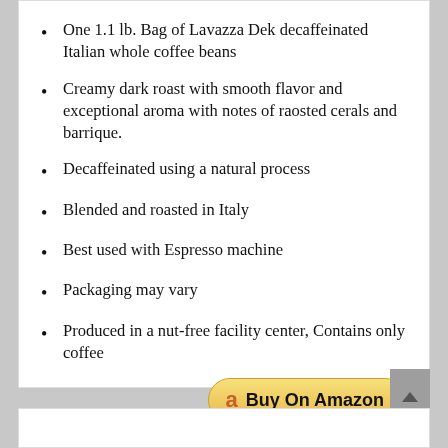One 1.1 lb. Bag of Lavazza Dek decaffeinated Italian whole coffee beans
Creamy dark roast with smooth flavor and exceptional aroma with notes of raosted cerals and barrique.
Decaffeinated using a natural process
Blended and roasted in Italy
Best used with Espresso machine
Packaging may vary
Produced in a nut-free facility center, Contains only coffee